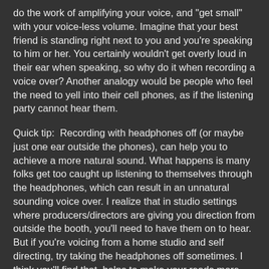do the work of amplifying your voice, and "get small" with your voice-less volume. Imagine that your best friend is standing right next to you and you're speaking to him or her. You certainly wouldn't get overly loud in their ear when speaking, so why do it when recording a voice over? Another analogy would be people who feel the need to yell into their cell phones, as if the listening party cannot hear them.
Quick tip:  Recording with headphones off (or maybe just one ear outside the phones), can help you to achieve a more natural sound. What happens is many folks get too caught up listening to themselves through the headphones, which can result in an unnatural sounding voice over. I realize that in studio settings where producers/directors are giving you direction from outside the booth, you'll need to have them on to hear. But if you're voicing from a home studio and self directing, try taking the headphones off sometimes. I think you'll find that  helps to make your reads more natural. Still, there are many  experienced voice talents who can sound natural with headphones on while recording. My advice so far is mainly intended for those just beginning their voice over endeavors and struggling with this issue.